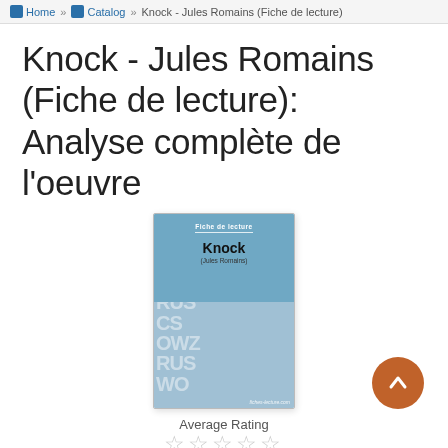Home » Catalog » Knock - Jules Romains (Fiche de lecture)
Knock - Jules Romains (Fiche de lecture): Analyse complète de l'oeuvre
[Figure (illustration): Book cover thumbnail for 'Knock' by Jules Romains, Fiche de lecture edition. Top half is steel blue with title text, bottom half is lighter blue with decorative white letter collage. Fiches-lecture.com watermark at bottom right.]
Average Rating
☆☆☆☆☆
Author